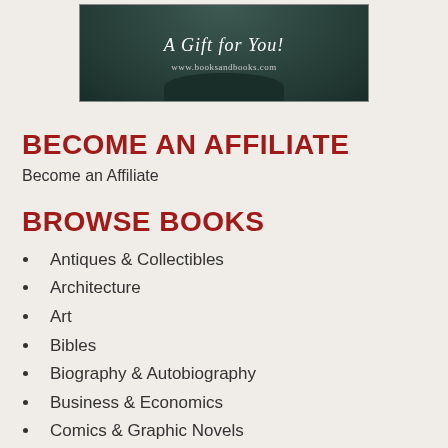[Figure (illustration): Dark green/teal banner advertisement for booksandbooks.com reading 'A Gift for You!' with an arch-shaped design at the bottom and the URL www.booksandbooks.com]
BECOME AN AFFILIATE
Become an Affiliate
BROWSE BOOKS
Antiques & Collectibles
Architecture
Art
Bibles
Biography & Autobiography
Business & Economics
Comics & Graphic Novels